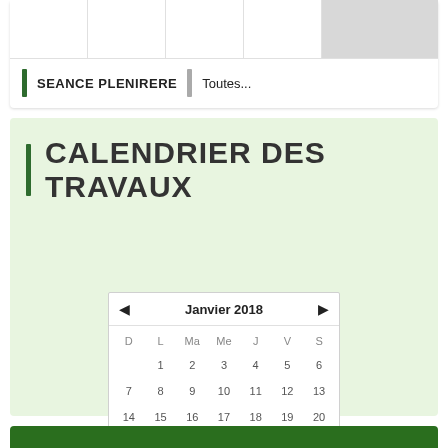SEANCE PLENIRERE | Toutes...
CALENDRIER DES TRAVAUX
[Figure (other): Calendar widget showing Janvier 2018 with days D L Ma Me J V S and dates 1-31]